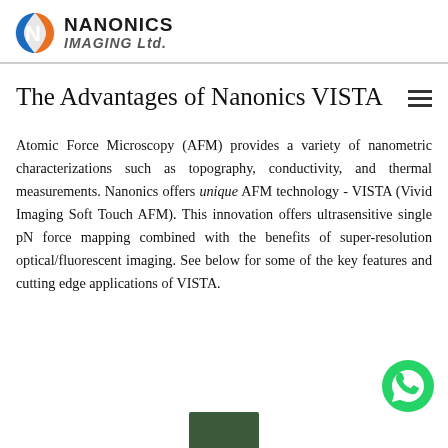[Figure (logo): Nanonics Imaging Ltd. logo with a blue and orange globe-like N icon and bold sans-serif text]
The Advantages of Nanonics VISTA
Atomic Force Microscopy (AFM) provides a variety of nanometric characterizations such as topography, conductivity, and thermal measurements. Nanonics offers unique AFM technology - VISTA (Vivid Imaging Soft Touch AFM). This innovation offers ultrasensitive single pN force mapping combined with the benefits of super-resolution optical/fluorescent imaging. See below for some of the key features and cutting edge applications of VISTA.